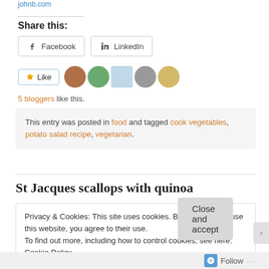Share this:
Facebook  LinkedIn
Like  [blogger avatars]  5 bloggers like this.
This entry was posted in food and tagged cook vegetables, potato salad recipe, vegetarian.
St Jacques scallops with quinoa
Privacy & Cookies: This site uses cookies. By continuing to use this website, you agree to their use.
To find out more, including how to control cookies, see here: Cookie Policy
Close and accept
Follow